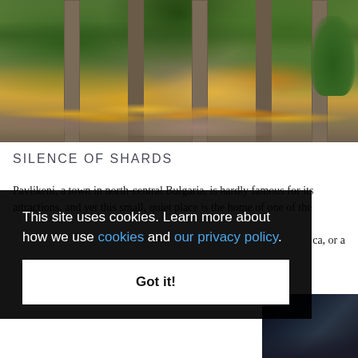[Figure (photo): Outdoor garden scene with stone brick pillars/columns, green shrubs, yellow and orange flowers in garden beds, grass and fallen leaves on the ground, trees in background]
SILENCE OF SHARDS
Pavlikeni, a town in north-central Bulgaria, is hardly famous for its attractions, and yet this small, quiet place is the home of one of the
This site uses cookies. Learn more about how we use cookies and our privacy policy.
Got it!
[Figure (photo): Partially visible dark nighttime photo at bottom right corner]